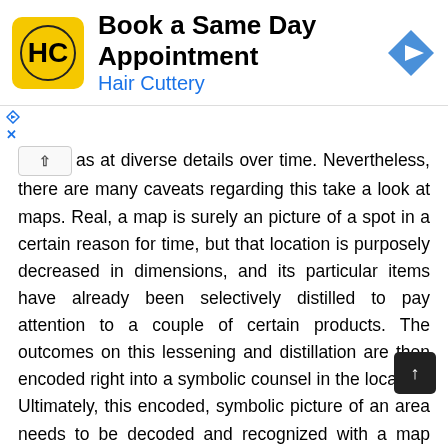[Figure (advertisement): Hair Cuttery advertisement banner with yellow logo, 'Book a Same Day Appointment' text, blue navigation arrow icon]
as at diverse details over time. Nevertheless, there are many caveats regarding this take a look at maps. Real, a map is surely an picture of a spot in a certain reason for time, but that location is purposely decreased in dimensions, and its particular items have already been selectively distilled to pay attention to a couple of certain products. The outcomes on this lessening and distillation are then encoded right into a symbolic counsel in the location. Ultimately, this encoded, symbolic picture of an area needs to be decoded and recognized with a map viewer who might are now living in some other timeframe and traditions. In the process from truth to visitor, maps might shed some or their refractive potential or maybe the picture could become blurry.
Maps use signs like collections as well as other colors to